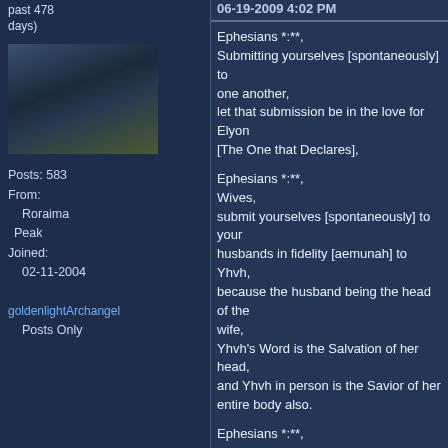past 478 days)
[Figure (photo): Dark stormy sky with lightning/clouds avatar image]
Posts: 583
From:
    Roraima Peak
Joined:
    02-11-2004

goldenlightArchangel
    Posts Only
06-19-2009 4:02 PM
Ephesians *:**, Submitting yourselves [spontaneously] to one another, let that submission be in the love for Elyon [The One that Declares],

Ephesians *:**, Wives, submit yourselves [spontaneously] to your husbands in fidelity [aemunah] to Yhvh, because the husband being the head of the wife, Yhvh's Word is the Salvation of her head, and Yhvh in person is the Savior of her entire body also.

Ephesians *:**, And as the gatherings of people are under the authority of YHVH's Word -- [Yhvh'shua], so let the wives be under that same authority also before their husbands in all things.

Weymouth NT -- 'And just as the church...